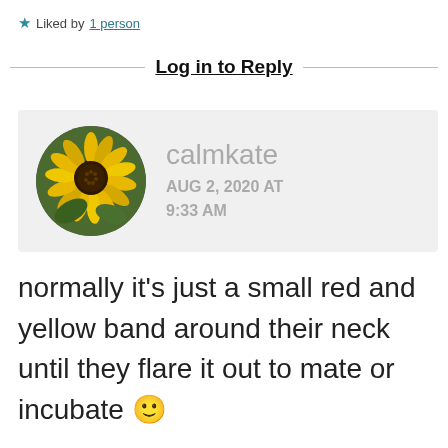★ Liked by 1 person
Log in to Reply
[Figure (photo): Circular avatar photo of a yellow sunflower with a dark center, user profile picture for calmkate]
calmkate
AUG 2, 2020 AT 9:33 AM
normally it's just a small red and yellow band around their neck until they flare it out to mate or incubate 🙂